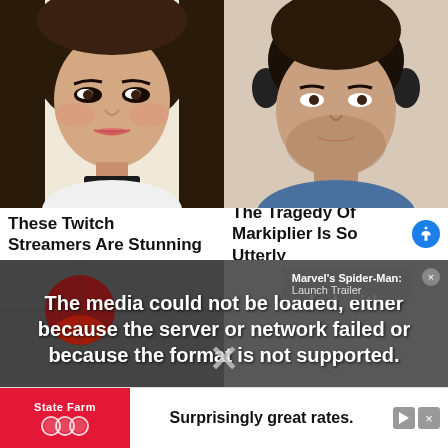[Figure (photo): Portrait photo of a young woman with dark hair, heavy eye makeup, and a choker necklace]
These Twitch Streamers Are Stunning
[Figure (photo): Portrait photo of a man with dark hair wearing black headphones and a blue shirt]
The Tragedy Of Markiplier Is So Utterly
[Figure (screenshot): Media error message overlaid on dark background with Spider-Man Launch Trailer overlay. Text reads: The media could not be loaded, either because the server or network failed or because the format is not supported.]
[Figure (photo): Partial background image at bottom]
Surprisingly great rates.
State Farm